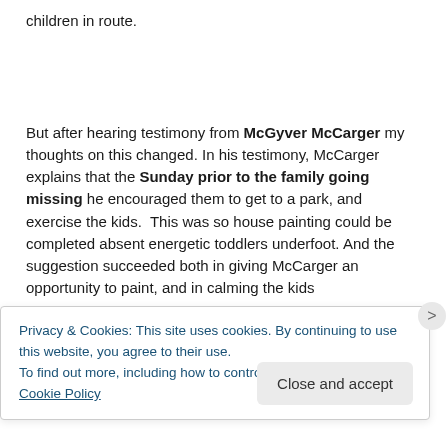children in route.
But after hearing testimony from McGyver McCarger my thoughts on this changed. In his testimony, McCarger explains that the Sunday prior to the family going missing he encouraged them to get to a park, and exercise the kids.  This was so house painting could be completed absent energetic toddlers underfoot. And the suggestion succeeded both in giving McCarger an opportunity to paint, and in calming the kids so when they returned to school next year and could be done
Privacy & Cookies: This site uses cookies. By continuing to use this website, you agree to their use.
To find out more, including how to control cookies, see here: Cookie Policy
Close and accept